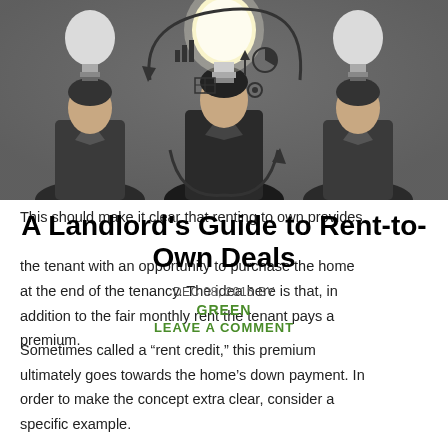[Figure (photo): Three businessmen in suits viewed from behind, facing a wall with drawn lightbulbs and business icons/charts in a circular arrangement]
A Landlord's Guide to Rent-to-Own Deals
This should make it clear that renting to own provides the tenant with an opportunity to purchase the home at the end of the tenancy. The idea here is that, in addition to the fair monthly rent the tenant pays a premium.
DEC 08, 2015 BY
GREEN
LEAVE A COMMENT
Sometimes called a “rent credit,” this premium ultimately goes towards the home’s down payment. In order to make the concept extra clear, consider a specific example.